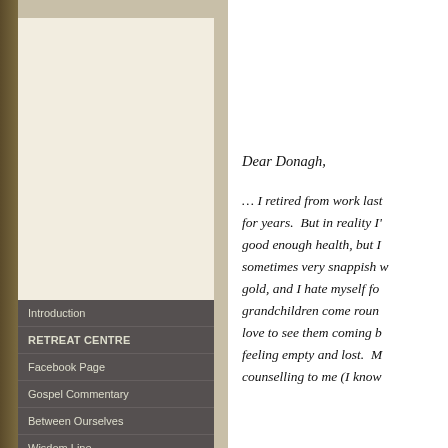Introduction
RETREAT CENTRE
Facebook Page
Gospel Commentary
Between Ourselves
Wisdom Line
Site Search
Contact Us
Dear Donagh,

… I retired from work last for years. But in reality I'm good enough health, but I sometimes very snappish w gold, and I hate myself fo grandchildren come roun love to see them coming b feeling empty and lost. M counselling to me (I know